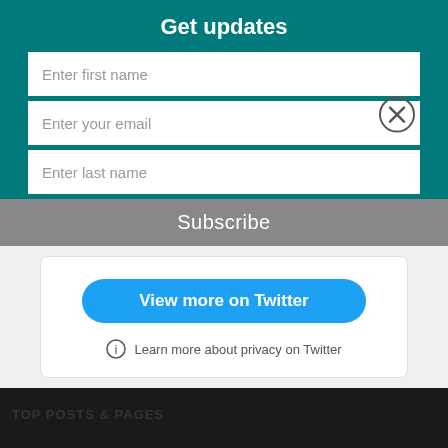Get updates
Enter first name
Enter your email
Enter last name
Subscribe
View more on Twitter
Learn more about privacy on Twitter
TOP POSTS & PAGES
This website uses cookies
OKAY
MORE INFO